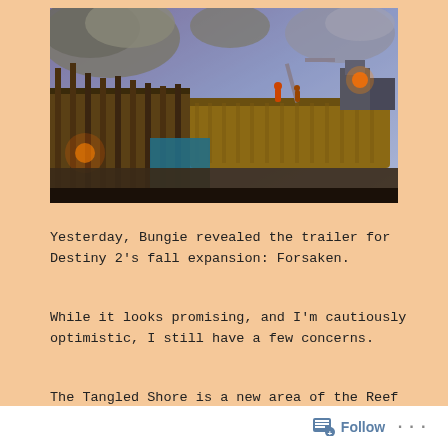[Figure (screenshot): Screenshot from Destiny 2 Forsaken expansion showing the Tangled Shore area with floating rocky debris, wooden platform structures, and dramatic purple/blue sky with glowing orange lights]
Yesterday, Bungie revealed the trailer for Destiny 2's fall expansion: Forsaken.
While it looks promising, and I'm cautiously optimistic, I still have a few concerns.
The Tangled Shore is a new area of the Reef we've never been to before, and I loved the aesthetic. The
Follow ...